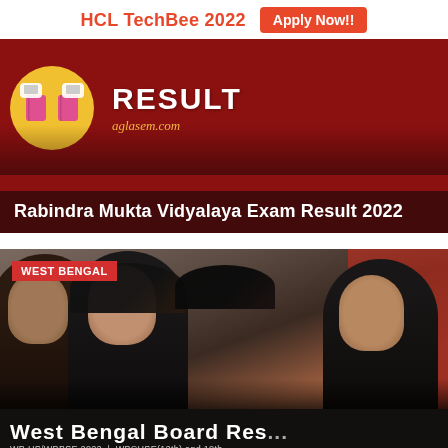HCL TechBee 2022  Apply Now!!
[Figure (screenshot): Rabindra Mukta Vidyalaya Exam Result 2022 banner on aglasem.com with a dark red background, a yellow circle logo with books, white RESULT text, and aglasem.com watermark]
Rabindra Mukta Vidyalaya Exam Result 2022
[Figure (photo): Photo of students with a WEST BENGAL red badge label. Shows young women looking down, with a reddish background. Partially visible text at bottom reading West Bengal Board Res...]
West Bengal Board Res...